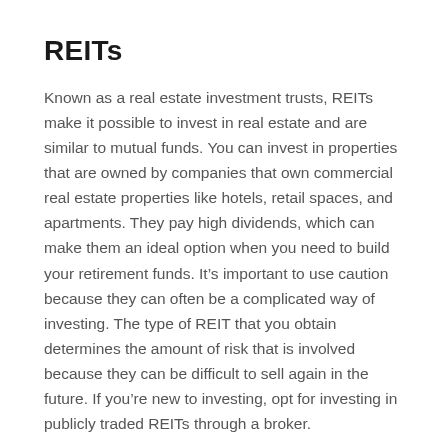REITs
Known as a real estate investment trusts, REITs make it possible to invest in real estate and are similar to mutual funds. You can invest in properties that are owned by companies that own commercial real estate properties like hotels, retail spaces, and apartments. They pay high dividends, which can make them an ideal option when you need to build your retirement funds. It’s important to use caution because they can often be a complicated way of investing. The type of REIT that you obtain determines the amount of risk that is involved because they can be difficult to sell again in the future. If you’re new to investing, opt for investing in publicly traded REITs through a broker.